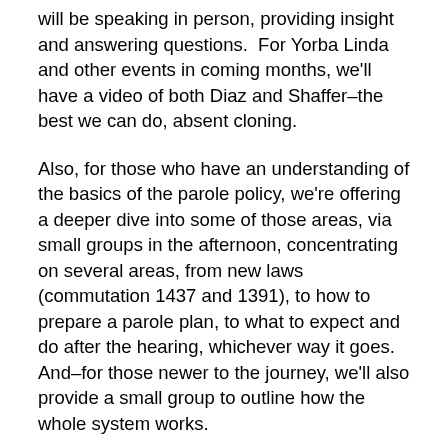will be speaking in person, providing insight and answering questions.  For Yorba Linda and other events in coming months, we'll have a video of both Diaz and Shaffer–the best we can do, absent cloning.
Also, for those who have an understanding of the basics of the parole policy, we're offering a deeper dive into some of those areas, via small groups in the afternoon, concentrating on several areas, from new laws (commutation 1437 and 1391), to how to prepare a parole plan, to what to expect and do after the hearing, whichever way it goes.  And–for those newer to the journey, we'll also provide a small group to outline how the whole system works.
Be sure to sign up, the easiest way is via our new and improved website, on the Events page, which, for the first